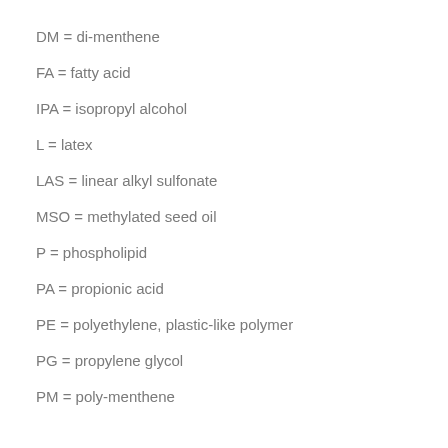DM = di-menthene
FA = fatty acid
IPA = isopropyl alcohol
L = latex
LAS = linear alkyl sulfonate
MSO = methylated seed oil
P = phospholipid
PA = propionic acid
PE = polyethylene, plastic-like polymer
PG = propylene glycol
PM = poly-menthene